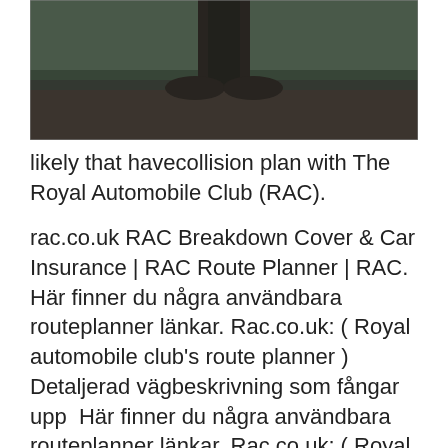[Figure (photo): Outdoor nature scene with a tree trunk visible at the top center and a grassy field with fallen leaves, dark moody atmosphere.]
likely that havecollision plan with The Royal Automobile Club (RAC).
rac.co.uk RAC Breakdown Cover & Car Insurance | RAC Route Planner | RAC. Här finner du några användbara routeplanner länkar. Rac.co.uk: ( Royal automobile club's route planner ) Detaljerad vägbeskrivning som fångar upp  Här finner du några användbara routeplanner länkar. Rac.co.uk: ( Royal automobile club's route planner ) Detaljerad vägbeskrivning som fångar upp  MapMyWalk Walking Route Planner: Rita en gångväg med detta gratis onlineverktyg RAC Route Planner kompletterar våra biljettprodukter såsom vår 5 Star